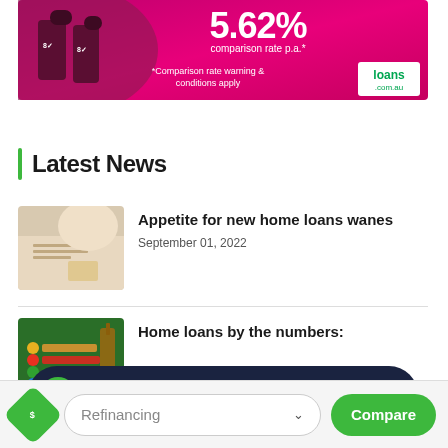[Figure (photo): Advertisement banner for loans.com.au showing 5.62% comparison rate p.a. with sports players in maroon jerseys on a pink/magenta background. Text reads '*Comparison rate warning & conditions apply' with loans.com.au logo.]
Latest News
[Figure (photo): Thumbnail image showing hands writing or working on paper, lifestyle photo for home loans article]
Appetite for new home loans wanes
September 01, 2022
[Figure (photo): Thumbnail image showing colorful abacus beads, illustrating home loans by the numbers article]
Home loans by the numbers:
Need help buying or refinancing?
Refinancing
Compare